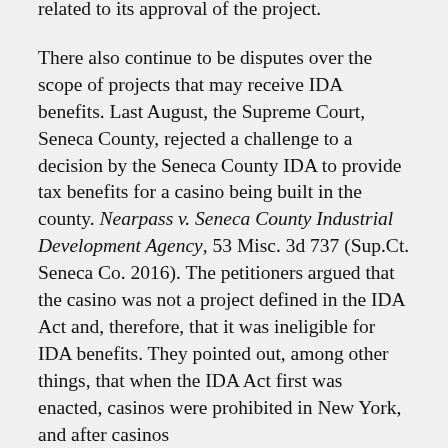related to its approval of the project.
There also continue to be disputes over the scope of projects that may receive IDA benefits. Last August, the Supreme Court, Seneca County, rejected a challenge to a decision by the Seneca County IDA to provide tax benefits for a casino being built in the county. Nearpass v. Seneca County Industrial Development Agency, 53 Misc. 3d 737 (Sup.Ct. Seneca Co. 2016). The petitioners argued that the casino was not a project defined in the IDA Act and, therefore, that it was ineligible for IDA benefits. They pointed out, among other things, that when the IDA Act first was enacted, casinos were prohibited in New York, and after casinos